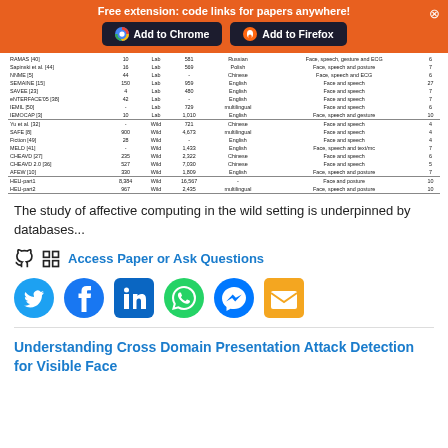Free extension: code links for papers anywhere!
| Name | Subjects | Type | Videos | Language | Modalities | Classes |
| --- | --- | --- | --- | --- | --- | --- |
| RAMAS [40] | 10 | Lab | 581 | Russian | Face, speech, gesture and ECG | 6 |
| Sapinski et al. [44] | 16 | Lab | 569 | Polish | Face, speech and posture | 7 |
| NNME [5] | 44 | Lab | - | Chinese | Face, speech and ECG | 6 |
| SEMAINE [15] | 150 | Lab | 959 | English | Face and speech | 27 |
| SAVEE [23] | 4 | Lab | 480 | English | Face and speech | 7 |
| eNTERFACE'05 [38] | 42 | Lab | - | English | Face and speech | 7 |
| IEMIL [50] | - | Lab | 729 | multilingual | Face and speech | 6 |
| IEMOCAP [3] | 10 | Lab | 1,010 | English | Face, speech and gesture | 10 |
| Yu et al. [32] | - | Wild | 721 | Chinese | Face and speech | 4 |
| SAFE [8] | 900 | Wild | 4,673 | multilingual | Face and speech | 4 |
| Fiction [49] | 28 | Wild | - | English | Face and speech | 4 |
| MELD [41] | - | Wild | 1,433 | English | Face, speech and text/mc | 7 |
| CHEAVD [27] | 235 | Wild | 2,322 | Chinese | Face and speech | 6 |
| CHEAVD 2.0 [36] | 527 | Wild | 7,030 | Chinese | Face and speech | 5 |
| AFEW [10] | 330 | Wild | 1,809 | English | Face, speech and posture | 7 |
| HEU-part1 | 8,384 | Wild | 16,567 | - | Face and posture | 10 |
| HEU-part2 | 967 | Wild | 2,435 | multilingual | Face, speech and posture | 10 |
The study of affective computing in the wild setting is underpinned by databases...
Access Paper or Ask Questions
[Figure (infographic): Social media sharing icons: Twitter, Facebook, LinkedIn, WhatsApp, Messenger, Email]
Understanding Cross Domain Presentation Attack Detection for Visible Face